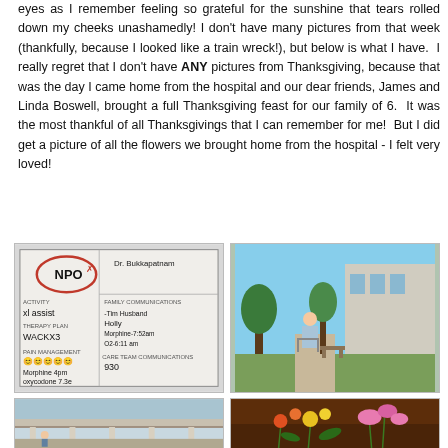eyes as I remember feeling so grateful for the sunshine that tears rolled down my cheeks unashamedly! I don't have many pictures from that week (thankfully, because I looked like a train wreck!), but below is what I have.  I really regret that I don't have ANY pictures from Thanksgiving, because that was the day I came home from the hospital and our dear friends, James and Linda Boswell, brought a full Thanksgiving feast for our family of 6.  It was the most thankful of all Thanksgivings that I can remember for me!  But I did get a picture of all the flowers we brought home from the hospital - I felt very loved!
[Figure (photo): Hospital whiteboard showing NPO status, patient info including Dr. Bukkapatnam, activity notes (xl assist), WACKX3, pain management emojis, Morphine 4pm, oxycodone 7.3e, and care team communications (Tim Husband, Holly, Morphine 7:52am, O2-611am, 930)]
[Figure (photo): Patient in hospital gown using a walker in a sunny outdoor courtyard area of a hospital with trees and a building in the background]
[Figure (photo): Outdoor view of a hospital or building exterior with overhanging roof structure]
[Figure (photo): Colorful flowers including pink orchids and other flowers on what appears to be a brown leather couch]